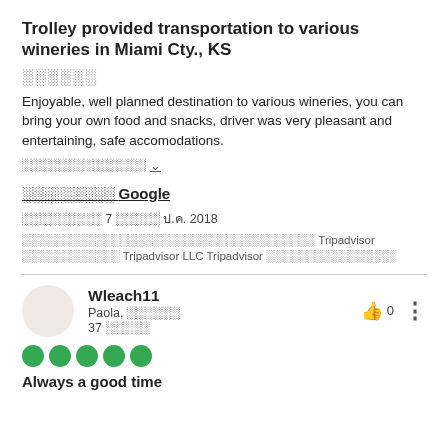Trolley provided transportation to various wineries in Miami Cty., KS
░░░░░░
Enjoyable, well planned destination to various wineries, you can bring your own food and snacks, driver was very pleasant and entertaining, safe accomodations.
░░░░░░░░░░░░░░ ∨
░░░░░░░░░ Google
░░░░░░░░░ 7 ░░░░░ ป.ค. 2018
░░░░░░░░░░░░░░░░░░░░░░░░░░░░░░░░░░░░ Tripadvisor ░░░░░░░░░░░░ Tripadvisor LLC Tripadvisor ░░░░░░░░░░░░░░░░
Wleach11
Paola, ░░░░░░
37 ░░░░░
0
Always a good time